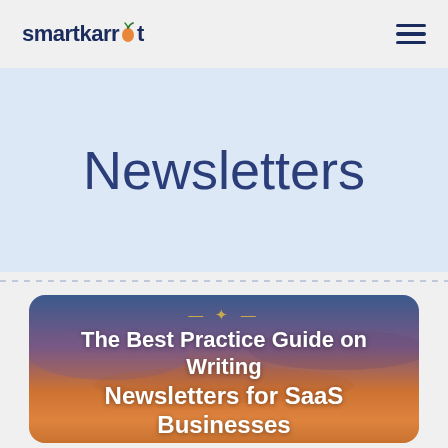smartkarrot
Newsletters
[Figure (illustration): Card with sunset sky background showing article preview titled 'The Best Practice Guide on Writing Newsletters for SaaS Businesses' with a decorative golden ornament at top]